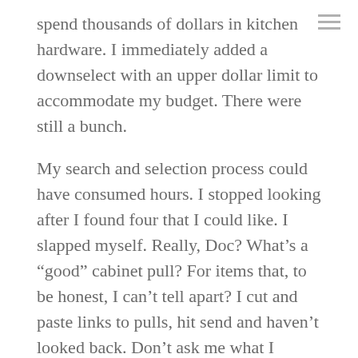spend thousands of dollars in kitchen hardware. I immediately added a downselect with an upper dollar limit to accommodate my budget. There were still a bunch.

My search and selection process could have consumed hours. I stopped looking after I found four that I could like. I slapped myself. Really, Doc? What's a “good” cabinet pull? For items that, to be honest, I can’t tell apart? I cut and paste links to pulls, hit send and haven’t looked back. Don’t ask me what I chose. I don’t even know if my selections come in the right size. I’m praying that the pro makes sense of my design idiocy.

Then there’s that color moment. Last time I painted was the unfinished refresh of our bedroom.